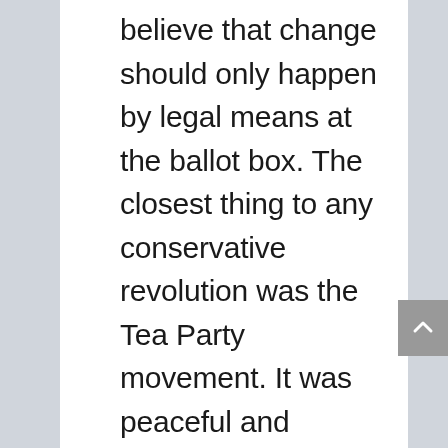believe that change should only happen by legal means at the ballot box. The closest thing to any conservative revolution was the Tea Party movement. It was peaceful and fizzled. The “left” now has Antifa and BLM, who are very militant and